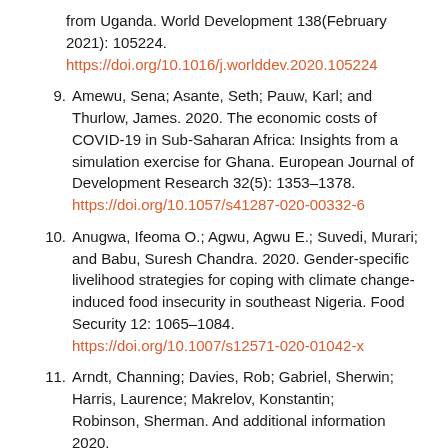from Uganda. World Development 138(February 2021): 105224. https://doi.org/10.1016/j.worlddev.2020.105224
9. Amewu, Sena; Asante, Seth; Pauw, Karl; and Thurlow, James. 2020. The economic costs of COVID-19 in Sub-Saharan Africa: Insights from a simulation exercise for Ghana. European Journal of Development Research 32(5): 1353–1378. https://doi.org/10.1057/s41287-020-00332-6
10. Anugwa, Ifeoma O.; Agwu, Agwu E.; Suvedi, Murari; and Babu, Suresh Chandra. 2020. Gender-specific livelihood strategies for coping with climate change-induced food insecurity in southeast Nigeria. Food Security 12: 1065–1084. https://doi.org/10.1007/s12571-020-01042-x
11. Arndt, Channing; Davies, Rob; Gabriel, Sherwin; Harris, Laurence; Makrelov, Konstantin; Robinson, Sherman. And an additional text 2020.